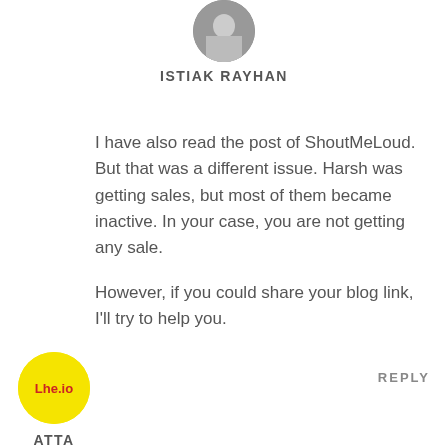[Figure (photo): Circular avatar photo of Istiak Rayhan, grayscale portrait]
ISTIAK RAYHAN
I have also read the post of ShoutMeLoud. But that was a different issue. Harsh was getting sales, but most of them became inactive. In your case, you are not getting any sale.
However, if you could share your blog link, I'll try to help you.
REPLY
[Figure (logo): Yellow circular logo with red text 'Lhe.io']
ATTA